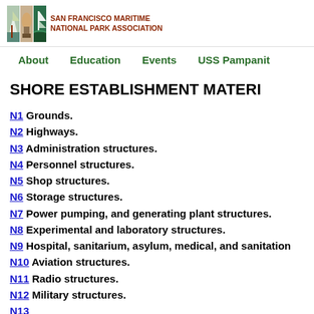[Figure (logo): San Francisco Maritime National Park Association logo with ship imagery and text]
About   Education   Events   USS Pampanit
SHORE ESTABLISHMENT MATERI
N1 Grounds.
N2 Highways.
N3 Administration structures.
N4 Personnel structures.
N5 Shop structures.
N6 Storage structures.
N7 Power pumping, and generating plant structures.
N8 Experimental and laboratory structures.
N9 Hospital, sanitarium, asylum, medical, and sanitation
N10 Aviation structures.
N11 Radio structures.
N12 Military structures.
N13 ...